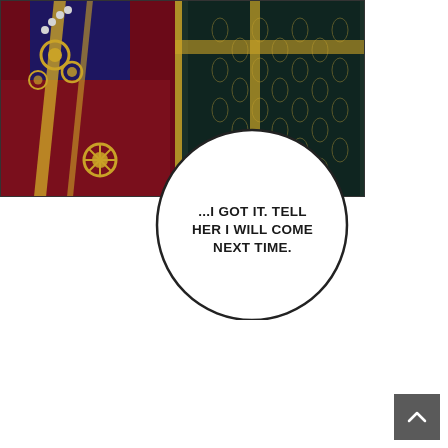[Figure (illustration): Top portion of a comic/manhwa page showing two figures in ornate historical costumes. Left figure wears dark navy/red robes with gold ornamental decorations, sash and medallions. Right figure wears dark green/teal robes with gold trim and brocade pattern. White background fills the lower portion of the page.]
...I GOT IT. TELL HER I WILL COME NEXT TIME.